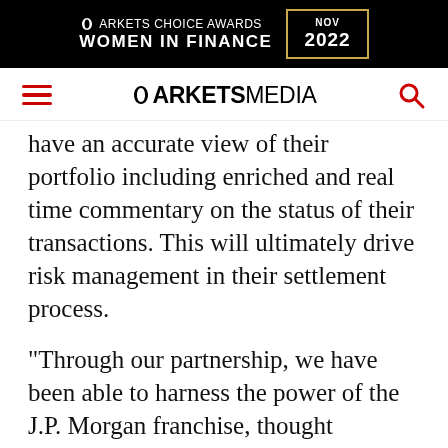[Figure (logo): Markets Choice Awards Women in Finance NOV 2022 banner advertisement with black background and gold border]
[Figure (logo): MarketsMedia navigation bar with hamburger menu, logo, and search icon]
have an accurate view of their portfolio including enriched and real time commentary on the status of their transactions. This will ultimately drive risk management in their settlement process.
“Through our partnership, we have been able to harness the power of the J.P. Morgan franchise, thought leadership and strong client relationships in developing an industry